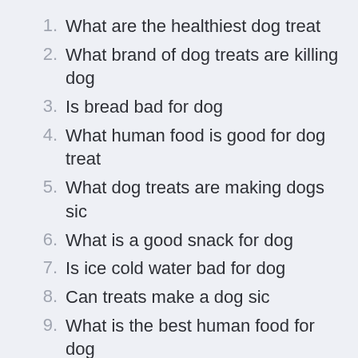1. What are the healthiest dog treat
2. What brand of dog treats are killing dog
3. Is bread bad for dog
4. What human food is good for dog treat
5. What dog treats are making dogs sic
6. What is a good snack for dog
7. Is ice cold water bad for dog
8. Can treats make a dog sic
9. What is the best human food for dog
10. Is cheese bad for dog